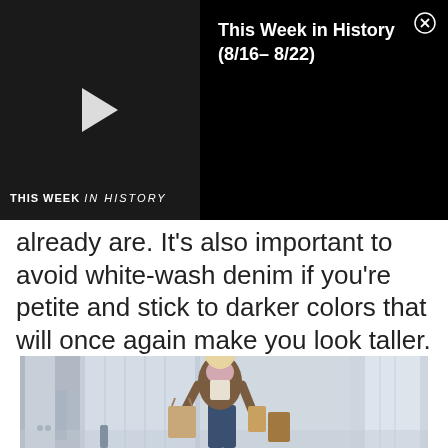[Figure (screenshot): Video thumbnail overlay showing 'THIS WEEK IN HISTORY' text with a play button on a dark background, and a black panel to the right with title 'This Week in History (8/16- 8/22)' and a close button]
already are. It's also important to avoid white-wash denim if you're petite and stick to darker colors that will once again make you look taller.
[Figure (photo): A blonde woman in a brown blazer and pink scarf walking outdoors in a city, carrying shopping bags, wearing dark jeans]